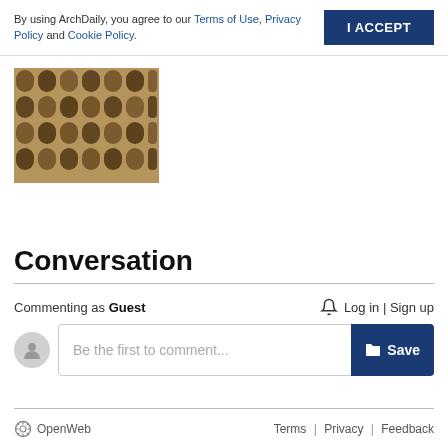By using ArchDaily, you agree to our Terms of Use, Privacy Policy and Cookie Policy.
[Figure (photo): Architecture building facade with repetitive geometric concrete/wood lattice structure]
Conversation
Commenting as Guest
Log in | Sign up
Be the first to comment...
OpenWeb    Terms | Privacy | Feedback